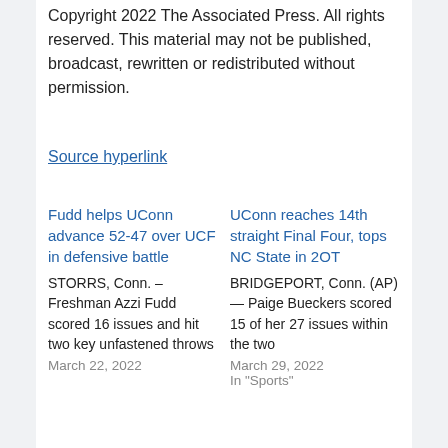Copyright 2022 The Associated Press. All rights reserved. This material may not be published, broadcast, rewritten or redistributed without permission.
Source hyperlink
Fudd helps UConn advance 52-47 over UCF in defensive battle
STORRS, Conn. – Freshman Azzi Fudd scored 16 issues and hit two key unfastened throws
March 22, 2022
UConn reaches 14th straight Final Four, tops NC State in 2OT
BRIDGEPORT, Conn. (AP) — Paige Bueckers scored 15 of her 27 issues within the two
March 29, 2022
In "Sports"